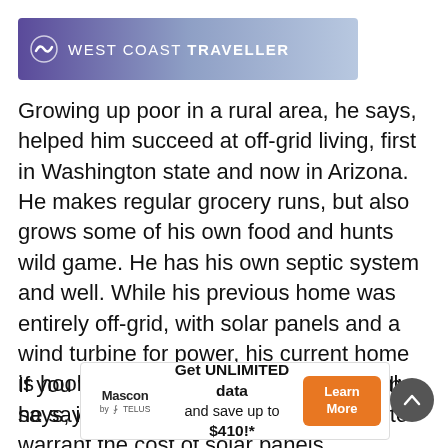WEST COAST TRAVELLER
Growing up poor in a rural area, he says, helped him succeed at off-grid living, first in Washington state and now in Arizona. He makes regular grocery runs, but also grows some of his own food and hunts wild game. He has his own septic system and well. While his previous home was entirely off-grid, with solar panels and a wind turbine for power, his current home is hooked up to an electrical grid, mainly, he says, because the bills are too low to warrant the cost of solar panels.
If you want to be totally self-sufficient, he says, it takes a lot
[Figure (other): Mascon by TELUS advertisement banner: Get UNLIMITED data and save up to $410!* with a Learn More button]